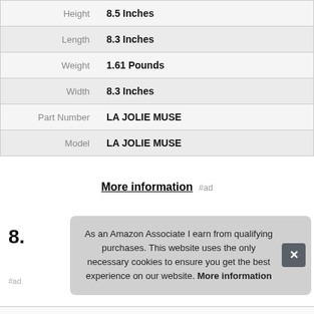| Attribute | Value |
| --- | --- |
| Height | 8.5 Inches |
| Length | 8.3 Inches |
| Weight | 1.61 Pounds |
| Width | 8.3 Inches |
| Part Number | LA JOLIE MUSE |
| Model | LA JOLIE MUSE |
More information #ad
8.
As an Amazon Associate I earn from qualifying purchases. This website uses the only necessary cookies to ensure you get the best experience on our website. More information
#ad